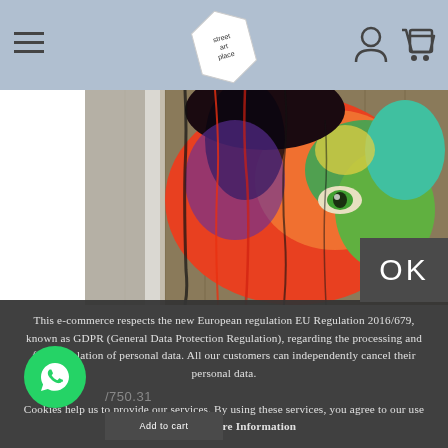Street Art Place — navigation header with hamburger menu, logo, user and cart icons
[Figure (photo): Colorful street art portrait of a face with dripping paint in reds, oranges, greens, and blues on wooden boards]
OK
This e-commerce respects the new European regulation EU Regulation 2016/679, known as GDPR (General Data Protection Regulation), regarding the processing and free circulation of personal data. All our customers can independently cancel their personal data.

Cookies help us to provide our services. By using these services, you agree to our use of cookies. More Information